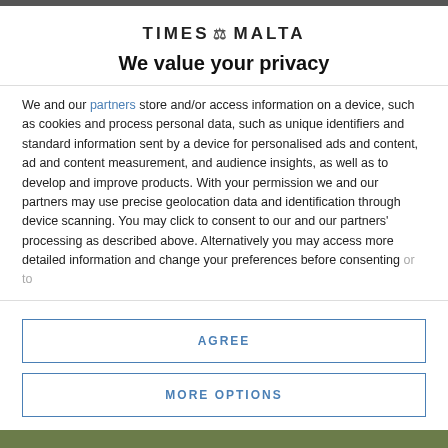[Figure (logo): Times Malta logo with torch icon and bold uppercase text]
We value your privacy
We and our partners store and/or access information on a device, such as cookies and process personal data, such as unique identifiers and standard information sent by a device for personalised ads and content, ad and content measurement, and audience insights, as well as to develop and improve products. With your permission we and our partners may use precise geolocation data and identification through device scanning. You may click to consent to our and our partners' processing as described above. Alternatively you may access more detailed information and change your preferences before consenting
AGREE
MORE OPTIONS